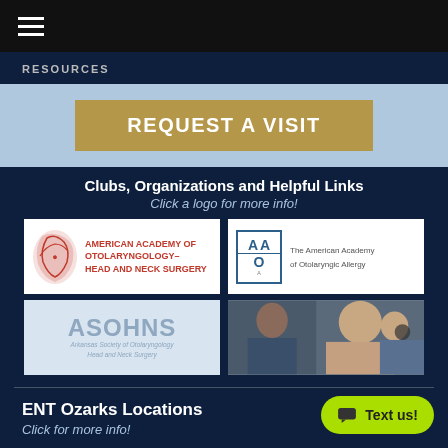RESOURCES
REQUEST A VISIT
Clubs, Organizations and Helpful Links
Click a logo for more info!
[Figure (logo): American Academy of Otolaryngology–Head and Neck Surgery logo]
[Figure (logo): The American Academy of Otolaryngic Allergy logo (AAOA)]
[Figure (logo): ASOHNS – Arkansas Society of Otolaryngology Head and Neck Surgery logo]
[Figure (photo): Photo of patients at ENT clinic, child with doctor using otoscope]
ENT Ozarks Locations
Click for more info!